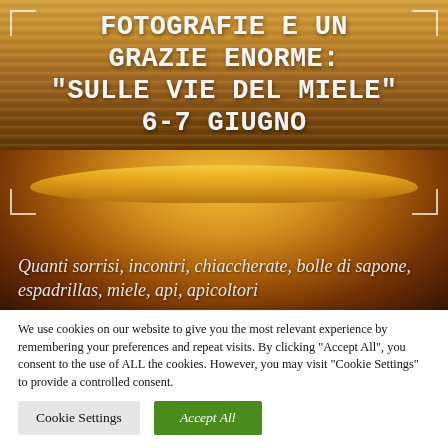[Figure (photo): Hero image with wooden background and honey bowl/jar, overlaid with large white text announcing a photography exhibition 'Sulle Vie del Miele' on June 6-7, and partially visible Italian text about smiles, meetings, and bees.]
FOTOGRAFIE E UN GRAZIE ENORME: "SULLE VIE DEL MIELE" 6-7 GIUGNO
Quanti sorrisi, incontri, chiaccherate, bolle di sapone, espadrillas, miele, api, apicoltori
We use cookies on our website to give you the most relevant experience by remembering your preferences and repeat visits. By clicking "Accept All", you consent to the use of ALL the cookies. However, you may visit "Cookie Settings" to provide a controlled consent.